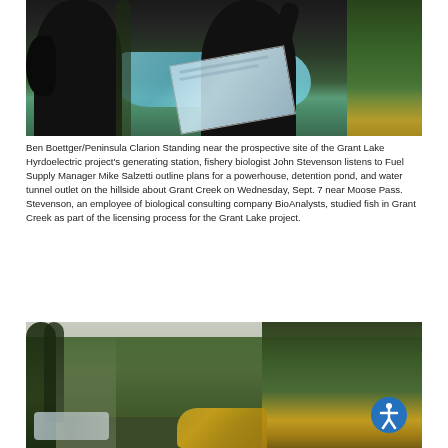[Figure (photo): Two people standing near a river or creek, one holding a map/document. Forested background with turquoise/blue water visible behind them.]
Ben Boettger/Peninsula Clarion Standing near the prospective site of the Grant Lake Hyrdoelectric project's generating station, fishery biologist John Stevenson listens to Fuel Supply Manager Mike Salzetti outline plans for a powerhouse, detention pond, and water tunnel outlet on the hillside about Grant Creek on Wednesday, Sept. 7 near Moose Pass. Stevenson, an employee of biological consulting company BioAnalysts, studied fish in Grant Creek as part of the licensing process for the Grant Lake project.
[Figure (photo): A forested creek or river scene with tall conifer trees, autumn foliage with yellow/orange leaves visible, misty background, and a small stream visible at lower left.]